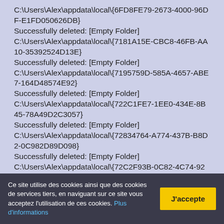C:\Users\Alex\appdata\local\{6FD8FE79-2673-4000-96DF-E1FD050626DB}
Successfully deleted: [Empty Folder]
C:\Users\Alex\appdata\local\{7181A15E-CBC8-46FB-AA10-35392524D13E}
Successfully deleted: [Empty Folder]
C:\Users\Alex\appdata\local\{7195759D-585A-4657-ABE7-164D48574E92}
Successfully deleted: [Empty Folder]
C:\Users\Alex\appdata\local\{722C1FE7-1EE0-434E-8B45-78A49D2C3057}
Successfully deleted: [Empty Folder]
C:\Users\Alex\appdata\local\{72834764-A774-437B-B8D2-0C982D89D098}
Successfully deleted: [Empty Folder]
C:\Users\Alex\appdata\local\{72C2F93B-0C82-4C74-92E5-8C20C486BCAF}
Successfully deleted: [Empty Folder]
C:\Users\Alex\appdata\local\{72CEA432-F615-4215-8179-
Ce site utilise des cookies ainsi que des cookies de services tiers, en naviguant sur ce site vous acceptez l'utilisation de ces cookies. Plus d'informations
J'accepte